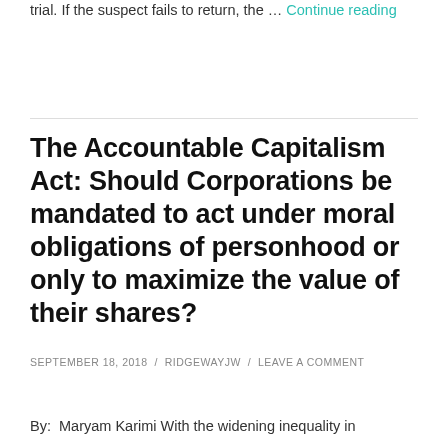trial. If the suspect fails to return, the … Continue reading
The Accountable Capitalism Act: Should Corporations be mandated to act under moral obligations of personhood or only to maximize the value of their shares?
SEPTEMBER 18, 2018 / RIDGEWAYJW / LEAVE A COMMENT
By:  Maryam Karimi With the widening inequality in